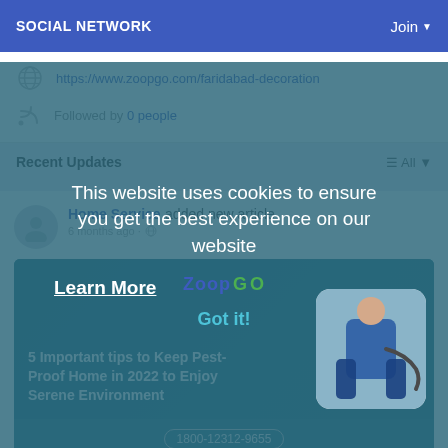SOCIAL NETWORK | Join
https://www.zoopgo.com/faridabad-decoration
Followed by 0 people
Recent Updates
All
Home Service added new article
6 months ago
[Figure (screenshot): Article card with teal background showing text '5 Important tips to Keep Pest-Proof Home in 2022 to Enjoy Serene Environment' with a pest control worker image, phone number 1800-12312-9655, and www.zoopgo.com]
This website uses cookies to ensure you get the best experience on our website Learn More Got it!